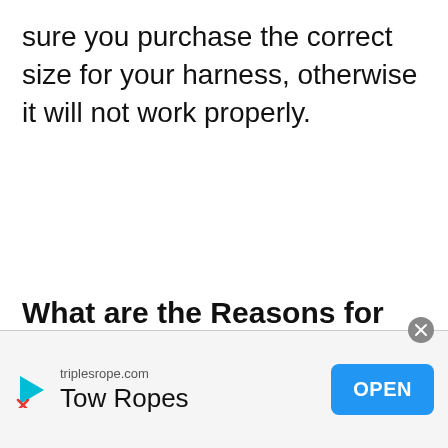sure you purchase the correct size for your harness, otherwise it will not work properly.
What are the Reasons for
[Figure (screenshot): Mobile advertisement overlay showing triplesrope.com Tow Ropes ad with a play/close icon and blue OPEN button]